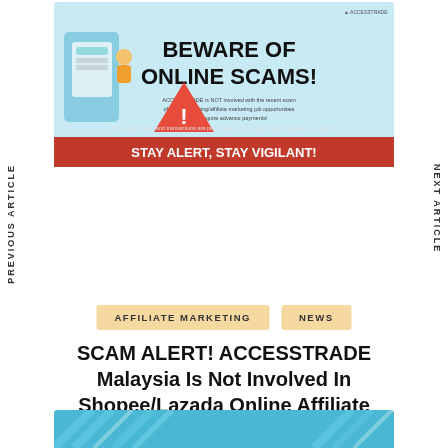[Figure (illustration): ACCESSTRADE Beware of Online Scams banner with illustration of person with phone and warning sign. Light blue background, red bottom bar saying STAY ALERT, STAY VIGILANT!]
PREVIOUS ARTICLE
NEXT ARTICLE
AFFILIATE MARKETING
NEWS
SCAM ALERT! ACCESSTRADE Malaysia Is Not Involved In Shopee/Lazada Online Affiliate Marketing Scams
[Figure (illustration): Partial bottom image with teal/blue diagonal pattern design]